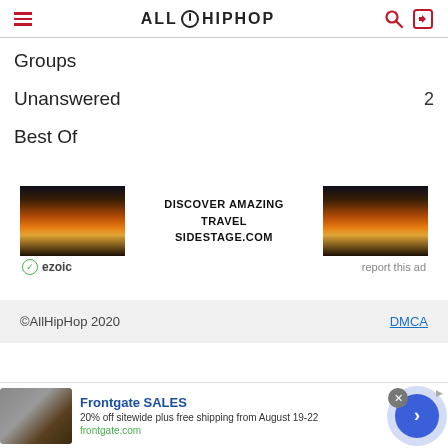AllHipHop
Groups
Unanswered  2
Best Of
[Figure (infographic): Advertisement banner: sunset travel imagery on both sides, text 'DISCOVER AMAZING TRAVEL SIDESTAGE.COM' in center. Ezoic badge on left, 'report this ad' on right.]
©AllHipHop 2020   DMCA
Frontgate SALES
20% off sitewide plus free shipping from August 19-22
frontgate.com